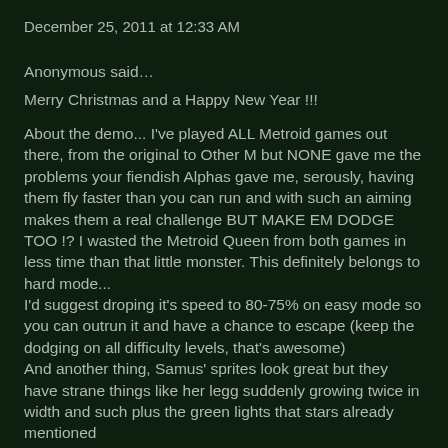December 25, 2011 at 12:33 AM
Anonymous said…
Merry Christmas and a Happy New Year !!!
About the demo... I've played ALL Metroid games out there, from the original to Other M but NONE gave me the problems your fiendish Alphas gave me, serously, having them fly faster than you can run and with such an aiming makes them a real challenge BUT MAKE EM DODGE TOO !? I wasted the Metroid Queen from both games in less time than that little monster. This definitely belongs to hard mode...
I'd suggest droping it's speed to 80-75% on easy mode so you can outrun it and have a chance to escape (keep the dodging on all difficulty levels, that's awesome)
And another thing, Samus' sprites look great but they have strane things like her legg suddenly growing twice in width and such plus the green lights that stars already mentioned